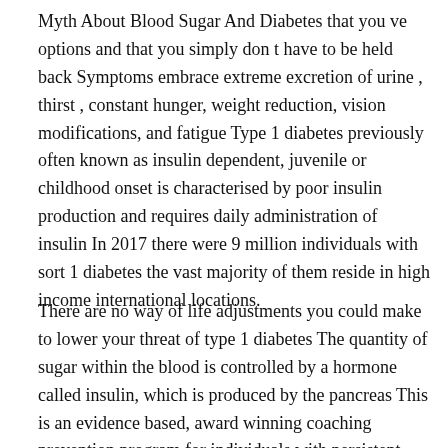Myth About Blood Sugar And Diabetes that you ve options and that you simply don t have to be held back Symptoms embrace extreme excretion of urine , thirst , constant hunger, weight reduction, vision modifications, and fatigue Type 1 diabetes previously often known as insulin dependent, juvenile or childhood onset is characterised by poor insulin production and requires daily administration of insulin In 2017 there were 9 million individuals with sort 1 diabetes the vast majority of them reside in high income international locations.
There are no way of life adjustments you could make to lower your threat of type 1 diabetes The quantity of sugar within the blood is controlled by a hormone called insulin, which is produced by the pancreas This is an evidence based, award winning coaching prevention program for individuals with persistent disease What Is A